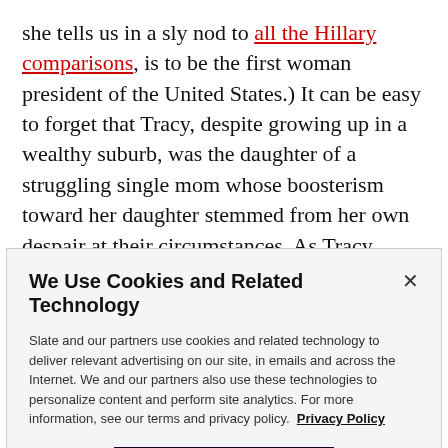she tells us in a sly nod to all the Hillary comparisons, is to be the first woman president of the United States.) It can be easy to forget that Tracy, despite growing up in a wealthy suburb, was the daughter of a struggling single mom whose boosterism toward her daughter stemmed from her own despair at their circumstances. As Tracy explains in the new novel, she had to drop out of law school to care for her mother when she became ill, and she never returned. She knows she did the best she
We Use Cookies and Related Technology
Slate and our partners use cookies and related technology to deliver relevant advertising on our site, in emails and across the Internet. We and our partners also use these technologies to personalize content and perform site analytics. For more information, see our terms and privacy policy. Privacy Policy
OK